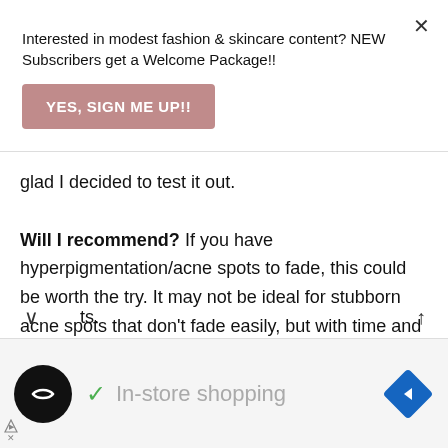Interested in modest fashion & skincare content? NEW Subscribers get a Welcome Package!!
YES, SIGN ME UP!!
glad I decided to test it out.
Will I recommend? If you have hyperpigmentation/acne spots to fade, this could be worth the try. It may not be ideal for stubborn acne spots that don't fade easily, but with time and proper consistency, you should see results.
In-store shopping